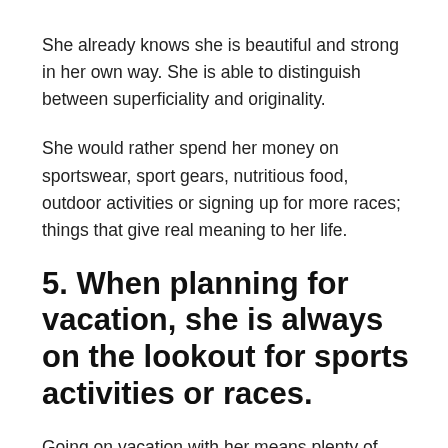She already knows she is beautiful and strong in her own way. She is able to distinguish between superficiality and originality.
She would rather spend her money on sportswear, sport gears, nutritious food, outdoor activities or signing up for more races; things that give real meaning to her life.
5. When planning for vacation, she is always on the lookout for sports activities or races.
Going on vacation with her means plenty of high-intensity, sweat-inducing activities. She will drag [you] of bed for an early morning climb up a mountain. She will conquer those long-distance trails outside the bustling